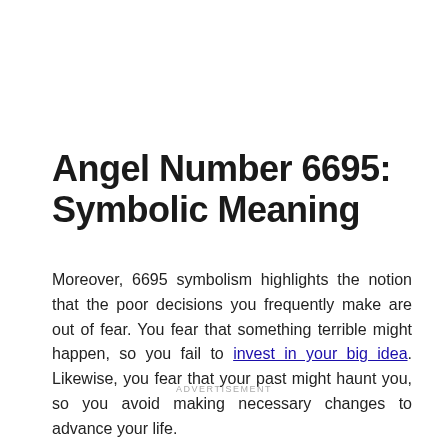Angel Number 6695: Symbolic Meaning
Moreover, 6695 symbolism highlights the notion that the poor decisions you frequently make are out of fear. You fear that something terrible might happen, so you fail to invest in your big idea. Likewise, you fear that your past might haunt you, so you avoid making necessary changes to advance your life.
ADVERTISEMENT